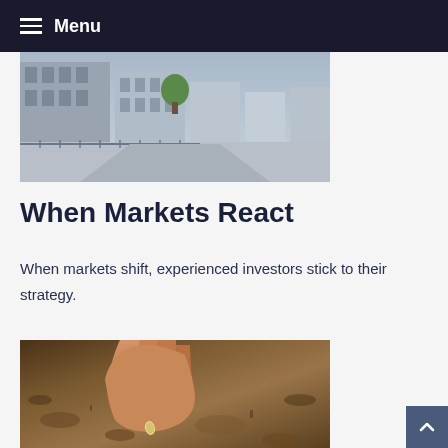Menu
[Figure (photo): Street scene with buildings and a sidewalk, likely Wall Street or financial district]
When Markets React
When markets shift, experienced investors stick to their strategy.
[Figure (photo): Close-up of a hand planting or holding a seed in dark soil]